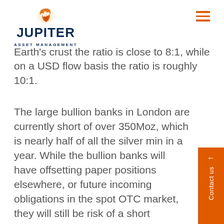Jupiter Asset Management
Earth's crust the ratio is close to 8:1, while on a USD flow basis the ratio is roughly 10:1.
The large bullion banks in London are currently short of over 350Moz, which is nearly half of all the silver mined in a year. While the bullion banks will have offsetting paper positions elsewhere, or future incoming obligations in the spot OTC market, they will still be at risk of a short covering squeeze, particularly if we see a wide range of prices quoted across the various different exchanges.